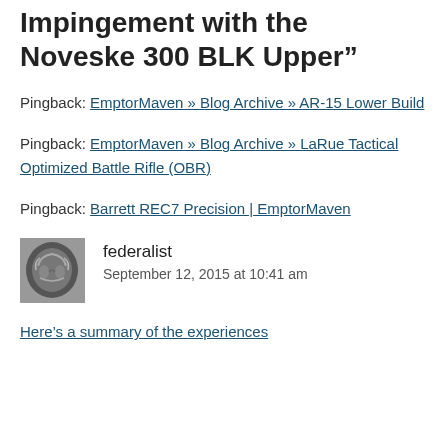Impingement with the Noveske 300 BLK Upper”
Pingback: EmptorMaven » Blog Archive » AR-15 Lower Build
Pingback: EmptorMaven » Blog Archive » LaRue Tactical Optimized Battle Rifle (OBR)
Pingback: Barrett REC7 Precision | EmptorMaven
federalist
September 12, 2015 at 10:41 am
Here’s a summary of the experiences